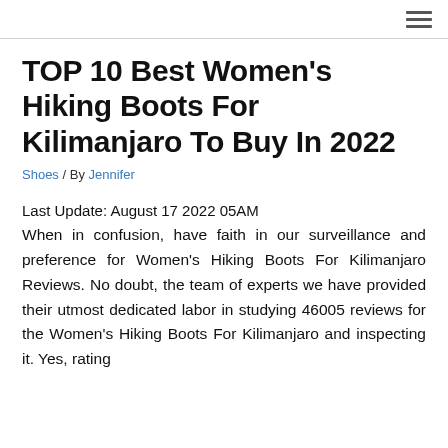≡
TOP 10 Best Women's Hiking Boots For Kilimanjaro To Buy In 2022
Shoes / By Jennifer
Last Update: August 17 2022 05AM
When in confusion, have faith in our surveillance and preference for Women's Hiking Boots For Kilimanjaro Reviews. No doubt, the team of experts we have provided their utmost dedicated labor in studying 46005 reviews for the Women's Hiking Boots For Kilimanjaro and inspecting it. Yes, rating